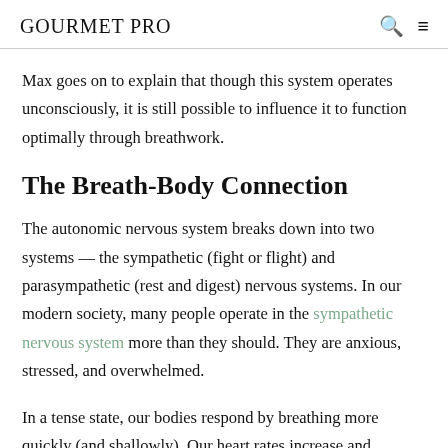GOURMET PRO
Max goes on to explain that though this system operates unconsciously, it is still possible to influence it to function optimally through breathwork.
The Breath-Body Connection
The autonomic nervous system breaks down into two systems — the sympathetic (fight or flight) and parasympathetic (rest and digest) nervous systems. In our modern society, many people operate in the sympathetic nervous system more than they should. They are anxious, stressed, and overwhelmed.
In a tense state, our bodies respond by breathing more quickly (and shallowly). Our heart rates increase and muscles tense up.